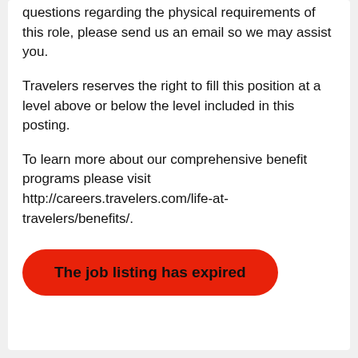questions regarding the physical requirements of this role, please send us an email so we may assist you.
Travelers reserves the right to fill this position at a level above or below the level included in this posting.
To learn more about our comprehensive benefit programs please visit http://careers.travelers.com/life-at-travelers/benefits/.
The job listing has expired